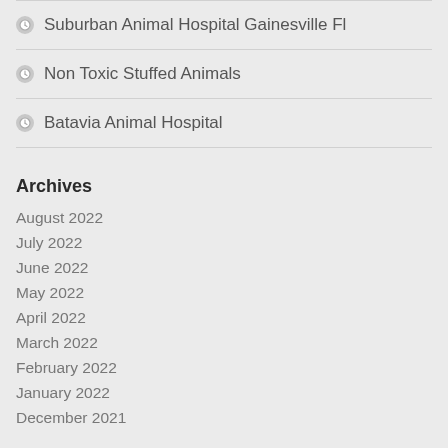Suburban Animal Hospital Gainesville Fl
Non Toxic Stuffed Animals
Batavia Animal Hospital
Archives
August 2022
July 2022
June 2022
May 2022
April 2022
March 2022
February 2022
January 2022
December 2021